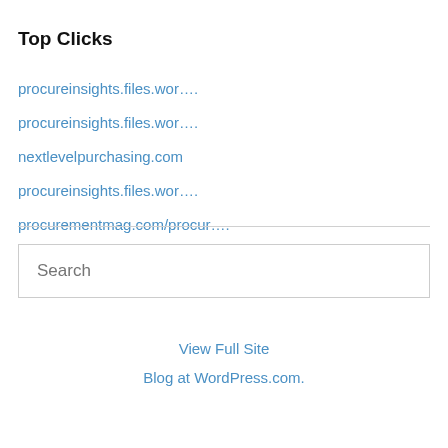Top Clicks
procureinsights.files.wor….
procureinsights.files.wor….
nextlevelpurchasing.com
procureinsights.files.wor….
procurementmag.com/procur….
Search
View Full Site
Blog at WordPress.com.